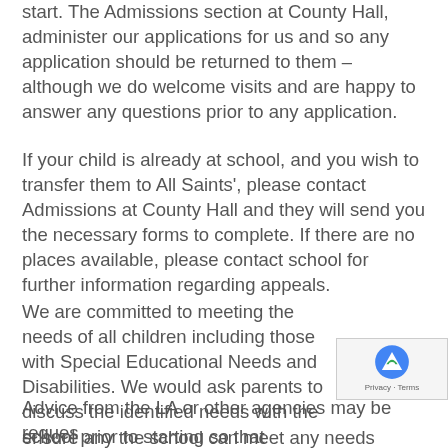start. The Admissions section at County Hall, administer our applications for us and so any application should be returned to them – although we do welcome visits and are happy to answer any questions prior to any application.
If your child is already at school, and you wish to transfer them to All Saints', please contact Admissions at County Hall and they will send you the necessary forms to complete. If there are no places available, please contact school for further information regarding appeals.
We are committed to meeting the needs of all children including those with Special Educational Needs and Disabilities. We would ask parents to discuss the identified needs with the school prior to starting so that appropriate intervention and support can be planned and implemented. Advice from the LA or other agencies may be requested to ensure any the school can meet any needs appropriately.